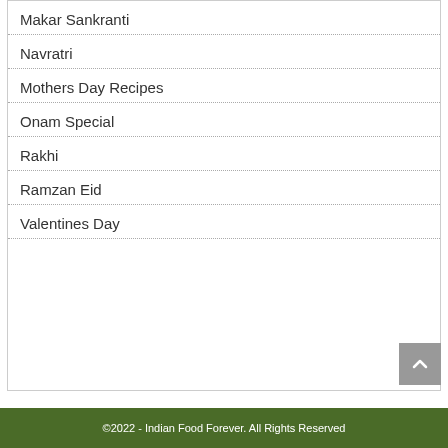Makar Sankranti
Navratri
Mothers Day Recipes
Onam Special
Rakhi
Ramzan Eid
Valentines Day
©2022 - Indian Food Forever. All Rights Reserved